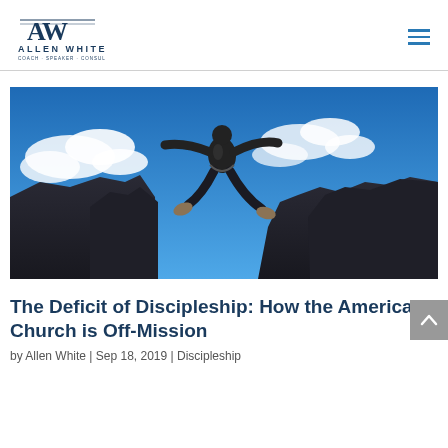Allen White
[Figure (photo): A person leaping between two rocky cliffs against a blue sky with white clouds — a 3D rendered illustration.]
The Deficit of Discipleship: How the American Church is Off-Mission
by Allen White | Sep 18, 2019 | Discipleship